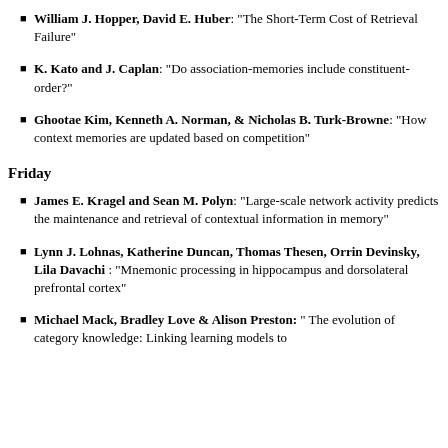William J. Hopper, David E. Huber: "The Short-Term Cost of Retrieval Failure"
K. Kato and J. Caplan: "Do association-memories include constituent-order?"
Ghootae Kim, Kenneth A. Norman, & Nicholas B. Turk-Browne: "How context memories are updated based on competition"
Friday
James E. Kragel and Sean M. Polyn: "Large-scale network activity predicts the maintenance and retrieval of contextual information in memory"
Lynn J. Lohnas, Katherine Duncan, Thomas Thesen, Orrin Devinsky, Lila Davachi : "Mnemonic processing in hippocampus and dorsolateral prefrontal cortex"
Michael Mack, Bradley Love & Alison Preston: " The evolution of category knowledge: Linking learning models to